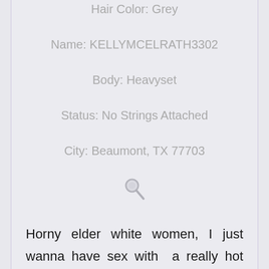Hair Color: Grey
Name: KELLYMCELRATH3302
Body: Heavyset
Status: No Strings Attached
City: Beaumont, TX 77703
[Figure (illustration): Small grey magnifying glass icon]
Horny elder white women, I just wanna have sex with a really hot guy so boys add me and wife